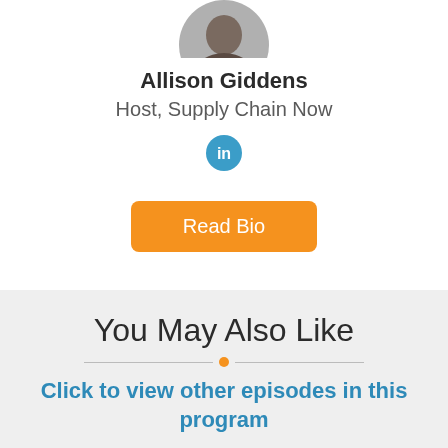[Figure (photo): Partial circular profile photo of Allison Giddens, cropped at top]
Allison Giddens
Host, Supply Chain Now
[Figure (logo): LinkedIn icon — blue circle with white 'in' text]
Read Bio
You May Also Like
Click to view other episodes in this program